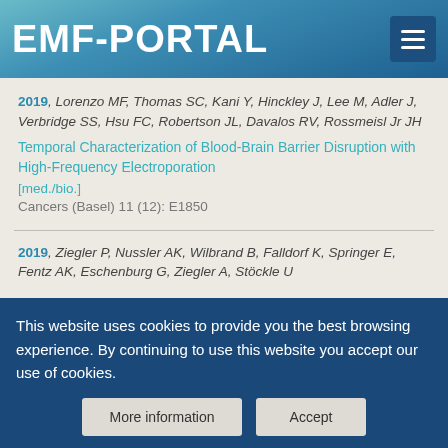EMF-PORTAL
2019, Lorenzo MF, Thomas SC, Kani Y, Hinckley J, Lee M, Adler J, Verbridge SS, Hsu FC, Robertson JL, Davalos RV, Rossmeisl Jr JH
Temporal Characterization of Blood-Brain Barrier Disruption with High-Frequency Electroporation [med./bio.]
Cancers (Basel) 11 (12): E1850
2019, Ziegler P, Nussler AK, Wilbrand B, Falldorf K, Springer E, Fentz AK, Eschenburg G, Ziegler A, Stöckle U
This website uses cookies to provide you the best browsing experience. By continuing to use this website you accept our use of cookies.